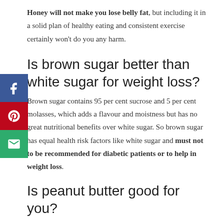Honey will not make you lose belly fat, but including it in a solid plan of healthy eating and consistent exercise certainly won't do you any harm.
Is brown sugar better than white sugar for weight loss?
Brown sugar contains 95 per cent sucrose and 5 per cent molasses, which adds a flavour and moistness but has no great nutritional benefits over white sugar. So brown sugar has equal health risk factors like white sugar and must not to be recommended for diabetic patients or to help in weight loss.
Is peanut butter good for you?
Peanut butter is rich in a variety of nutrients — but it's also rich in calories and fat. While the healthy fats in peanut butter are nutritious, you should consume them in moderation to avoid